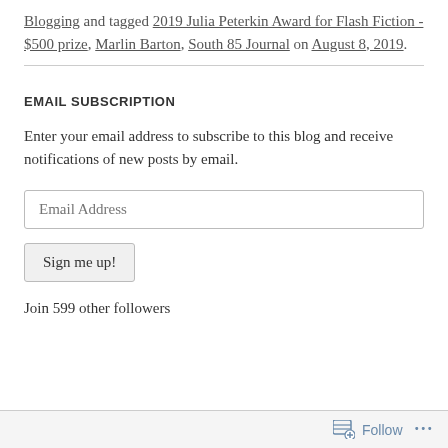Blogging and tagged 2019 Julia Peterkin Award for Flash Fiction - $500 prize, Marlin Barton, South 85 Journal on August 8, 2019.
EMAIL SUBSCRIPTION
Enter your email address to subscribe to this blog and receive notifications of new posts by email.
Email Address
Sign me up!
Join 599 other followers
Follow ...